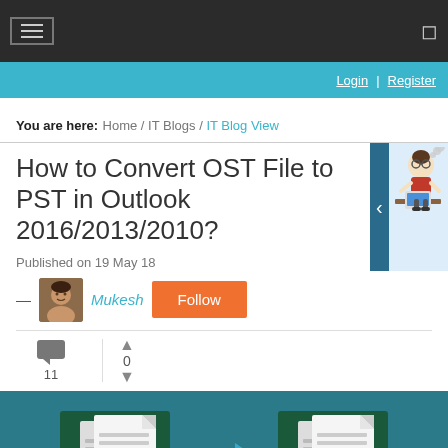Navigation bar with hamburger menu and search icon
Login | Register
You are here: Home / IT Blogs / IT Blog View
How to Convert OST File to PST in Outlook 2016/2013/2010?
Published on 19 May 18
— Mukesh  Follow
11 comments, 0 votes
[Figure (illustration): Article header image showing OST to PST file conversion with document icons and an arrow, on a teal background]